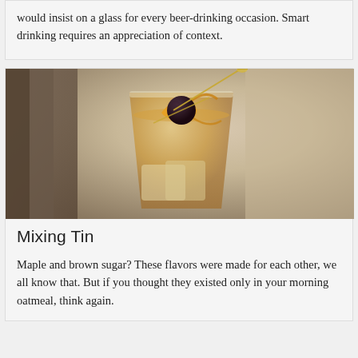would insist on a glass for every beer-drinking occasion. Smart drinking requires an appreciation of context.
[Figure (photo): A cocktail in a lowball glass with ice, amber-colored liquid, garnished with a dark cherry and orange peel twist on a cocktail pick, set against a light beige/marble background.]
Mixing Tin
Maple and brown sugar? These flavors were made for each other, we all know that. But if you thought they existed only in your morning oatmeal, think again.